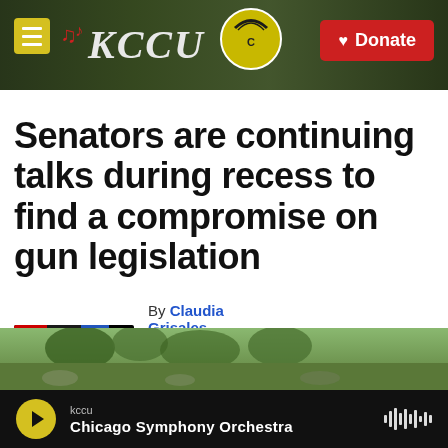KCCU — Donate
Senators are continuing talks during recess to find a compromise on gun legislation
By Claudia Grisales
Published May 28, 2022 at 4:00 AM CDT
[Figure (photo): Outdoor photo strip at bottom of article, partially visible]
kccu — Chicago Symphony Orchestra (audio player)